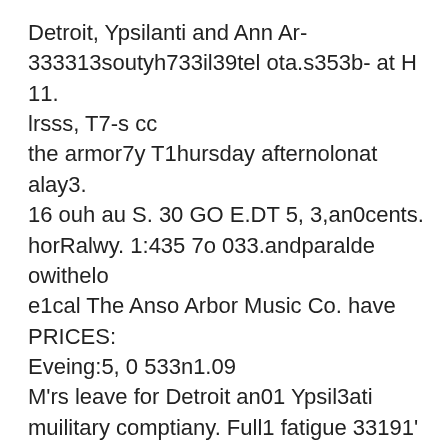Detroit, Ypsilanti and Ann Ar- 333313soutyh733il39tel ota.s353b- at H 11. lrsss, T7-s cc the armor7y T1hursday afternolonat alay3. 16 ouh au S. 30 GO E.DT 5, 3,an0cents. horRalwy. 1:435 7o 033.andparalde owithelo e1cal The Anso Arbor Music Co. have PRICES: Eveing:5, 0 533n1.09 M'rs leave for Detroit an01 Ypsil3ati muilitary comptiany. Full1 fatigue 33191' very ha our, beginnoing at 7:15 a.113 some inducemuents to offer stsu- Grge'ScolfDain until 7:45 p. ni3; After thlalthoDetroit 10713m99wil1be 300r0. dealsonsalbi board: